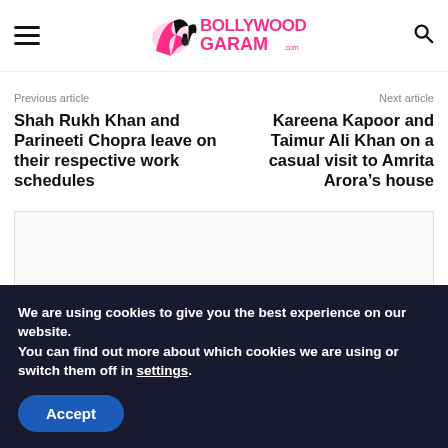BollywoodGaram.com
Previous article
Shah Rukh Khan and Parineeti Chopra leave on their respective work schedules
Next article
Kareena Kapoor and Taimur Ali Khan on a casual visit to Amrita Arora’s house
[Figure (other): Advertisement box placeholder]
We are using cookies to give you the best experience on our website.
You can find out more about which cookies we are using or switch them off in settings.
Accept